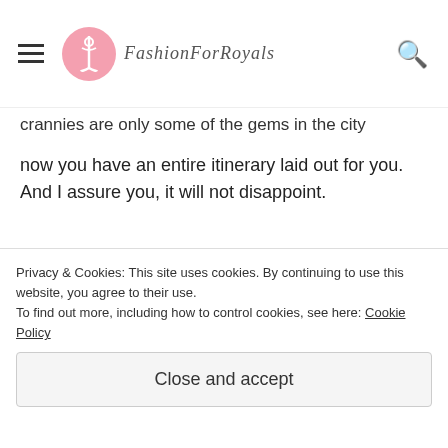FashionForRoyals logo and navigation header
crannies are only some of the gems in the city
now you have an entire itinerary laid out for you. And I assure you, it will not disappoint.
Note: The spending money was gifted by Hotels.com, but all views are my own.
Subscribe Now
Subscribe to the blog for free
Privacy & Cookies: This site uses cookies. By continuing to use this website, you agree to their use. To find out more, including how to control cookies, see here: Cookie Policy
Close and accept